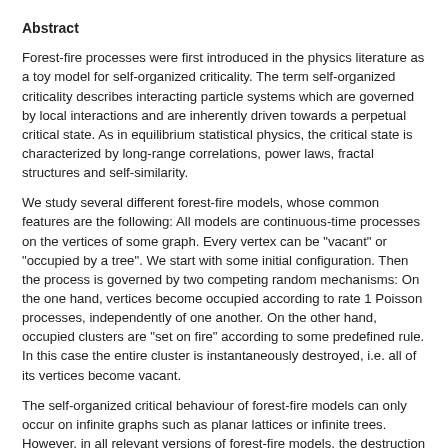Abstract
Forest-fire processes were first introduced in the physics literature as a toy model for self-organized criticality. The term self-organized criticality describes interacting particle systems which are governed by local interactions and are inherently driven towards a perpetual critical state. As in equilibrium statistical physics, the critical state is characterized by long-range correlations, power laws, fractal structures and self-similarity.
We study several different forest-fire models, whose common features are the following: All models are continuous-time processes on the vertices of some graph. Every vertex can be "vacant" or "occupied by a tree". We start with some initial configuration. Then the process is governed by two competing random mechanisms: On the one hand, vertices become occupied according to rate 1 Poisson processes, independently of one another. On the other hand, occupied clusters are "set on fire" according to some predefined rule. In this case the entire cluster is instantaneously destroyed, i.e. all of its vertices become vacant.
The self-organized critical behaviour of forest-fire models can only occur on infinite graphs such as planar lattices or infinite trees. However, in all relevant versions of forest-fire models, the destruction mechanism is a priori only well-defined for finite graphs. For this reason, one starts with a forest-fire model on finite subsets of an infinite graph and then takes the limit along increasing sequences of finite subsets to obtain a new forest-fire model on the infinite graph.